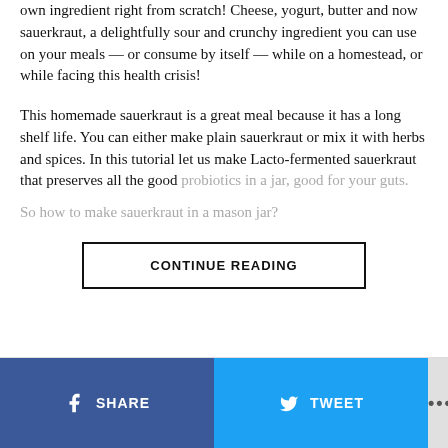own ingredient right from scratch! Cheese, yogurt, butter and now sauerkraut, a delightfully sour and crunchy ingredient you can use on your meals — or consume by itself — while on a homestead, or while facing this health crisis!
This homemade sauerkraut is a great meal because it has a long shelf life. You can either make plain sauerkraut or mix it with herbs and spices. In this tutorial let us make Lacto-fermented sauerkraut that preserves all the good probiotics in a jar, good for your guts.
So how to make sauerkraut in a mason jar?
CONTINUE READING
SHARE   TWEET   ...